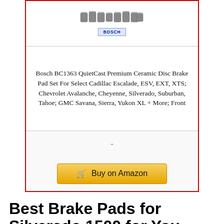[Figure (illustration): Product card with Bosch brake pad icons at top, a Bosch brand badge, product title text, a dash separator, and a Buy on Amazon button. Card has a red border.]
Bosch BC1363 QuietCast Premium Ceramic Disc Brake Pad Set For Select Cadillac Escalade, ESV, EXT, XTS; Chevrolet Avalanche, Cheyenne, Silverado, Suburban, Tahoe; GMC Savana, Sierra, Yukon XL + More; Front
-
Buy on Amazon
Best Brake Pads for Silverado 1500 for You